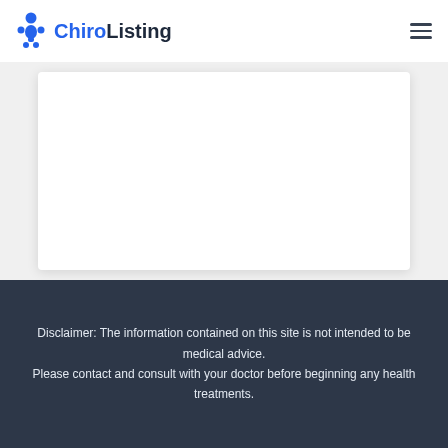ChiroListing
[Figure (other): White content card with shadow on light gray background, representing a page content area placeholder]
Disclaimer: The information contained on this site is not intended to be medical advice. Please contact and consult with your doctor before beginning any health treatments.